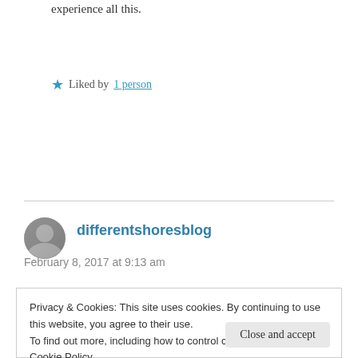experience all this.
★ Liked by 1 person
differentshoresblog
February 8, 2017 at 9:13 am
Privacy & Cookies: This site uses cookies. By continuing to use this website, you agree to their use.
To find out more, including how to control cookies, see here: Cookie Policy
Close and accept
colo-rectal bits). I only had one IVF cycle and then gave up. I